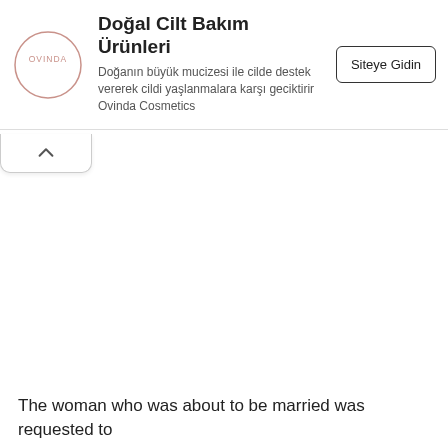[Figure (logo): Ovinda circular logo with text OVINDA inside a circle, pink/rose color]
Doğal Cilt Bakım Ürünleri
Doğanın büyük mucizesi ile cilde destek vererek cildi yaşlanmalara karşı geciktirir Ovinda Cosmetics
Siteye Gidin
The woman who was about to be married was requested to